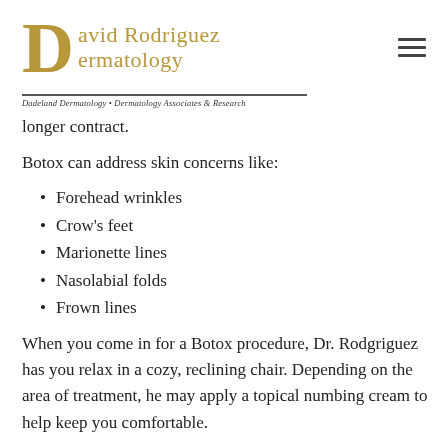[Figure (logo): David Rodriguez Dermatology logo with large golden D and text, subtitle: Dadeland Dermatology • Dermatology Associates & Research]
longer contract.
Botox can address skin concerns like:
Forehead wrinkles
Crow's feet
Marionette lines
Nasolabial folds
Frown lines
When you come in for a Botox procedure, Dr. Rodgriguez has you relax in a cozy, reclining chair. Depending on the area of treatment, he may apply a topical numbing cream to help keep you comfortable.